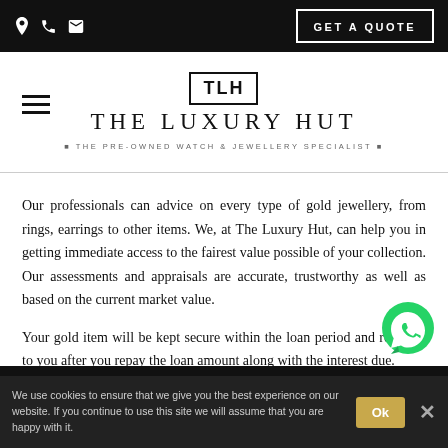GET A QUOTE
[Figure (logo): The Luxury Hut logo with TLH monogram in a box, brand name and tagline 'The Pre-Owned Watch & Jewellery Specialist']
Our professionals can advice on every type of gold jewellery, from rings, earrings to other items. We, at The Luxury Hut, can help you in getting immediate access to the fairest value possible of your collection. Our assessments and appraisals are accurate, trustworthy as well as based on the current market value.
Your gold item will be kept secure within the loan period and returned to you after you repay the loan amount along with the interest due.
We use cookies to ensure that we give you the best experience on our website. If you continue to use this site we will assume that you are happy with it.  Ok  ✕